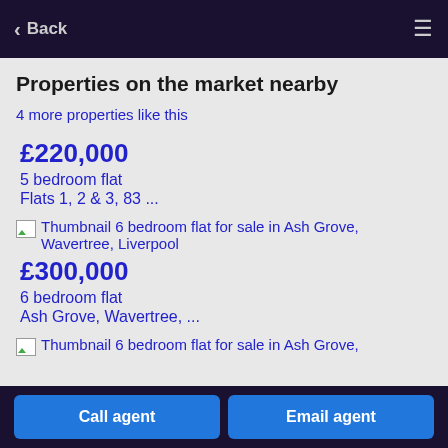Back
Properties on the market nearby
4 more properties like this
£220,000
5 bedroom flat
Flats 1, 2 & 3, 83 ...
[Figure (photo): Thumbnail 6 bedroom flat for sale in Ash Grove, Wavertree, Liverpool]
£300,000
6 bedroom flat
Ash Grove, Wavertree, ...
[Figure (photo): Thumbnail 6 bedroom flat for sale in Ash Grove]
Call agent | Email agent